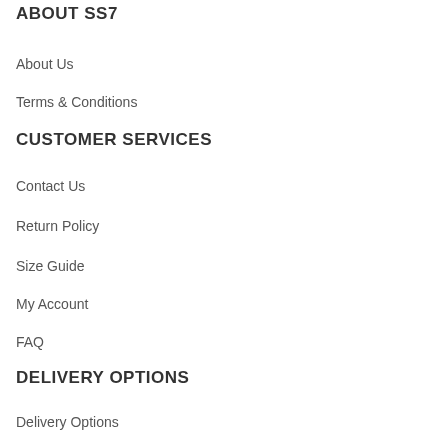ABOUT SS7
About Us
Terms & Conditions
CUSTOMER SERVICES
Contact Us
Return Policy
Size Guide
My Account
FAQ
DELIVERY OPTIONS
Delivery Options
NEWSLETTER
Get Exclusive Offers & Updates